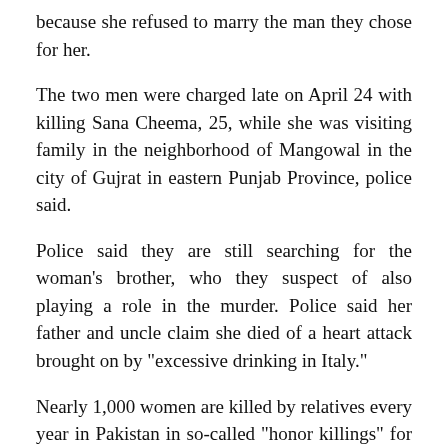because she refused to marry the man they chose for her.
The two men were charged late on April 24 with killing Sana Cheema, 25, while she was visiting family in the neighborhood of Mangowal in the city of Gujrat in eastern Punjab Province, police said.
Police said they are still searching for the woman's brother, who they suspect of also playing a role in the murder. Police said her father and uncle claim she died of a heart attack brought on by "excessive drinking in Italy."
Nearly 1,000 women are killed by relatives every year in Pakistan in so-called "honor killings" for violating conservative Pakistani traditions on love, marriage, and public behavior.
The Italian Foreign Ministry said it was following the case through its embassy in Islamabad and has offered